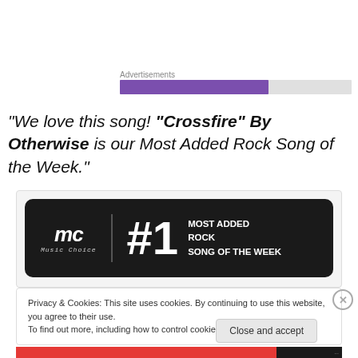Advertisements
“We love this song! “Crossfire” By Otherwise is our Most Added Rock Song of the Week.”
[Figure (logo): Music Choice #1 Most Added Rock Song of the Week badge on dark background]
Privacy & Cookies: This site uses cookies. By continuing to use this website, you agree to their use.
To find out more, including how to control cookies, see here: Cookie Policy